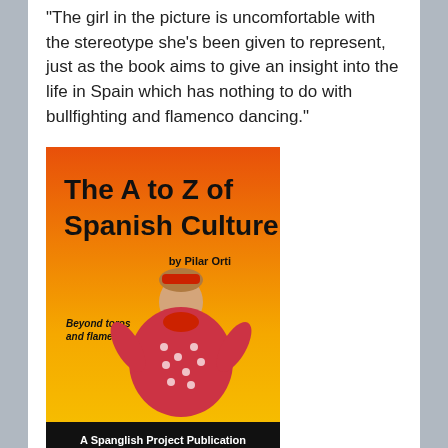"The girl in the picture is uncomfortable with the stereotype she's been given to represent, just as the book aims to give an insight into the life in Spain which has nothing to do with bullfighting and flamenco dancing."
[Figure (illustration): Book cover of 'The A to Z of Spanish Culture by Pilar Orti'. Orange-yellow gradient background. A young girl dressed in a red and white polka-dot flamenco costume. Text reads 'Beyond toros and flamenco.' Bottom bar reads 'A Spanglish Project Publication'.]
TLC: This cover gives me no idea what Spanish culture is like, therefore I lose confidence in the